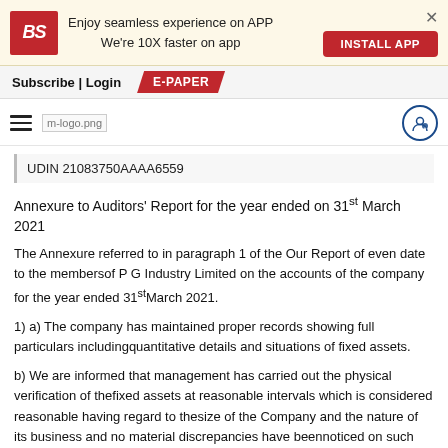[Figure (screenshot): Business Standard app install banner with BS logo, 'Enjoy seamless experience on APP We're 10X faster on app' text, INSTALL APP button, and close X]
Subscribe | Login   E-PAPER
[Figure (logo): Hamburger menu icon and m-logo.png and user icon]
UDIN 21083750AAAA6559
Annexure to Auditors' Report for the year ended on 31st March 2021
The Annexure referred to in paragraph 1 of the Our Report of even date to the membersof P G Industry Limited on the accounts of the company for the year ended 31stMarch 2021.
1) a) The company has maintained proper records showing full particulars includingquantitative details and situations of fixed assets.
b) We are informed that management has carried out the physical verification of thefixed assets at reasonable intervals which is considered reasonable having regard to thesize of the Company and the nature of its business and no material discrepancies have beennoticed on such physical verification to the extent verification was made during the year.